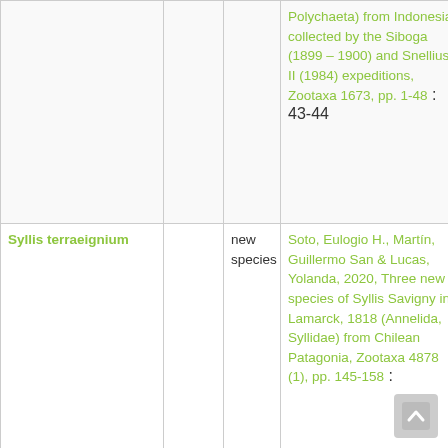| Species |  | Status | Reference | Pages |
| --- | --- | --- | --- | --- |
|  |  |  | Polychaeta) from Indonesia collected by the Siboga (1899 – 1900) and Snellius II (1984) expeditions, Zootaxa 1673, pp. 1-48 : 43-44 |  |
| Syllis terraeignium |  | new species | Soto, Eulogio H., Martín, Guillermo San & Lucas, Yolanda, 2020, Three new species of Syllis Savigny in Lamarck, 1818 (Annelida, Syllidae) from Chilean Patagonia, Zootaxa 4878 (1), pp. 145-158 : 150-153 | 150-153 |